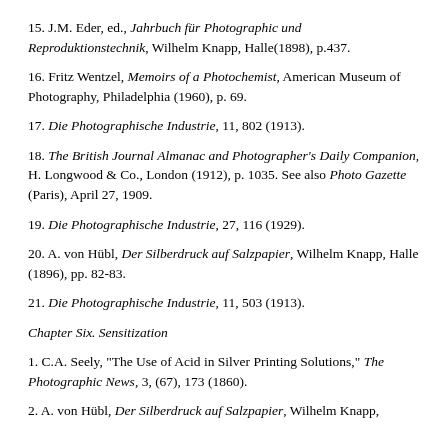15. J.M. Eder, ed., Jahrbuch für Photographic und Reproduktionstechnik, Wilhelm Knapp, Halle(1898), p.437.
16. Fritz Wentzel, Memoirs of a Photochemist, American Museum of Photography, Philadelphia (1960), p. 69.
17. Die Photographische Industrie, 11, 802 (1913).
18. The British Journal Almanac and Photographer's Daily Companion, H. Longwood & Co., London (1912), p. 1035. See also Photo Gazette (Paris), April 27, 1909.
19. Die Photographische Industrie, 27, 116 (1929).
20. A. von Hübl, Der Silberdruck auf Salzpapier, Wilhelm Knapp, Halle (1896), pp. 82-83.
21. Die Photographische Industrie, 11, 503 (1913).
Chapter Six. Sensitization
1. C.A. Seely, "The Use of Acid in Silver Printing Solutions," The Photographic News, 3, (67), 173 (1860).
2. A. von Hübl, Der Silberdruck auf Salzpapier, Wilhelm Knapp,